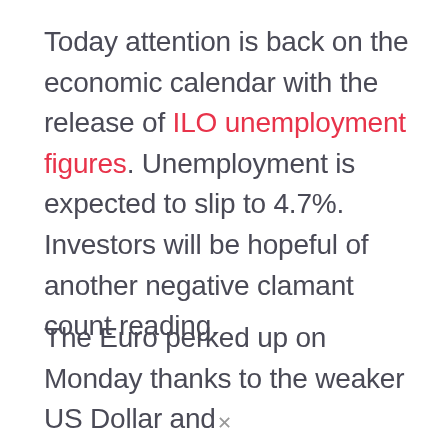Today attention is back on the economic calendar with the release of ILO unemployment figures. Unemployment is expected to slip to 4.7%. Investors will be hopeful of another negative clamant count reading.
The Euro perked up on Monday thanks to the weaker US Dollar and